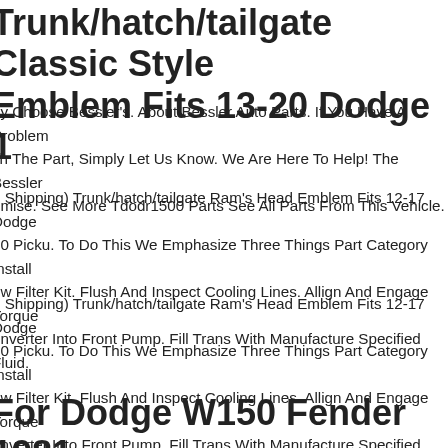Trunk/hatch/tailgate Classic Style Emblem Fits 13-20 Dodge 1
hy Choose Bessler's. About Bessler Auto Parts. If You Have A Problem ith The Part, Simply Let Us Know. We Are Here To Help! The Bessler omise. See More Tdodr1500 Parts See All Parts From This Vehicle.
o Shipping) Trunk/hatch/tailgate Ram's Head Emblem Fits 12-17 Dodge 00 Picku. To Do This We Emphasize Three Things Part Category Install ew Filter Kit. Flush And Inspect Cooling Lines. Allign And Engage Torque onverter Into Front Pump. Fill Trans With Manufacture Specified Fluid.
o Shipping) Trunk/hatch/tailgate Ram's Head Emblem Fits 12-17 Dodge 00 Picku. To Do This We Emphasize Three Things Part Category Install ew Filter Kit. Flush And Inspect Cooling Lines. Allign And Engage Torque onverter Into Front Pump. Fill Trans With Manufacture Specified Fluid.
For Dodge W150 Fender 1981-1993 Lh And Rh Pair/set Front W/